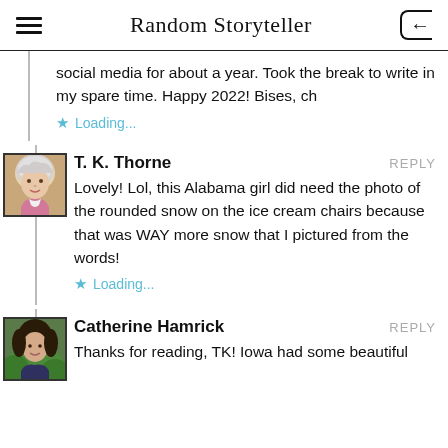Random Storyteller
social media for about a year. Took the break to write in my spare time. Happy 2022! Bises, ch
Loading...
T. K. Thorne
REPLY
Lovely! Lol, this Alabama girl did need the photo of the rounded snow on the ice cream chairs because that was WAY more snow that I pictured from the words!
Loading...
Catherine Hamrick
REPLY
Thanks for reading, TK! Iowa had some beautiful